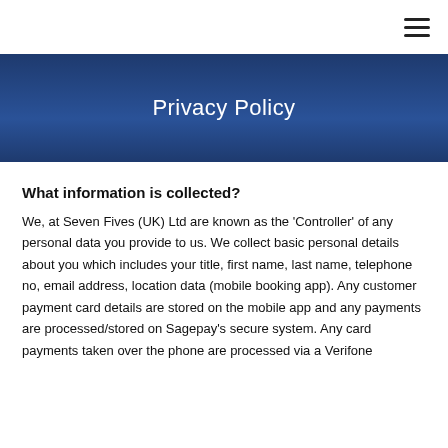☰
Privacy Policy
What information is collected?
We, at Seven Fives (UK) Ltd are known as the 'Controller' of any personal data you provide to us. We collect basic personal details about you which includes your title, first name, last name, telephone no, email address, location data (mobile booking app). Any customer payment card details are stored on the mobile app and any payments are processed/stored on Sagepay's secure system. Any card payments taken over the phone are processed via a Verifone